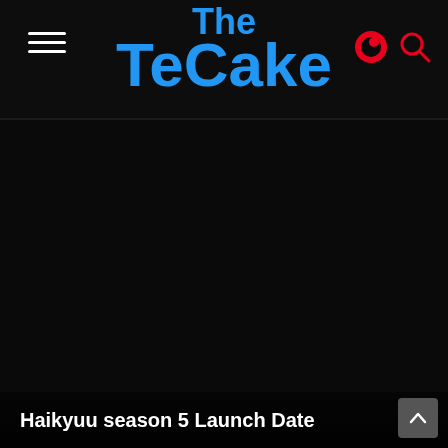The TeCake
[Figure (screenshot): Dark background webpage screenshot with The TeCake logo in blue at top center, hamburger menu top left, Crunchyroll and search icons top right, and dark main content area below]
Haikyuu season 5 Launch Date